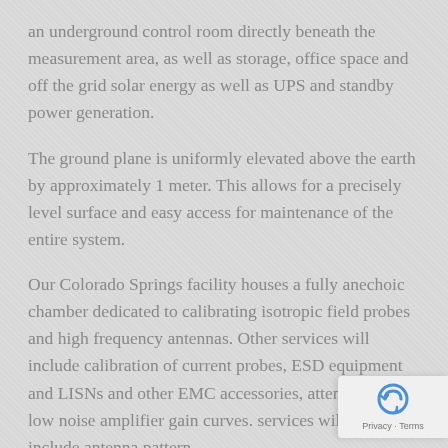an underground control room directly beneath the measurement area, as well as storage, office space and off the grid solar energy as well as UPS and standby power generation.
The ground plane is uniformly elevated above the earth by approximately 1 meter. This allows for a precisely level surface and easy access for maintenance of the entire system.
Our Colorado Springs facility houses a fully anechoic chamber dedicated to calibrating isotropic field probes and high frequency antennas. Other services will include calibration of current probes, ESD equipment and LISNs and other EMC accessories, attenuators and low noise amplifier gain curves. services will also include antenna pattern